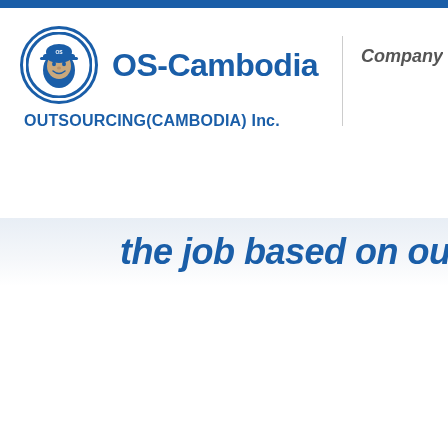[Figure (logo): OS-Cambodia company logo: circular badge with a person's face wearing a cap on the left, bold blue 'OS-Cambodia' text on the right, and 'OUTSOURCING(CAMBODIA) Inc.' subtitle below. A vertical divider separates the logo from the word 'Company' on the right side.]
the job based on our w